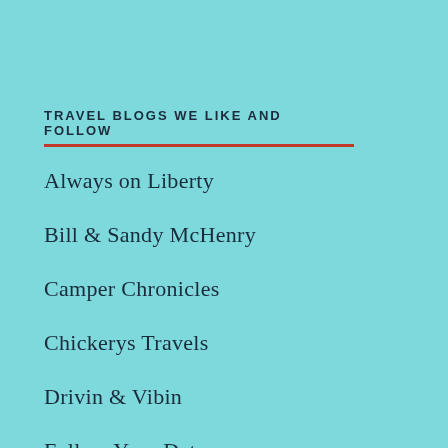TRAVEL BLOGS WE LIKE AND FOLLOW
Always on Liberty
Bill & Sandy McHenry
Camper Chronicles
Chickerys Travels
Drivin & Vibin
Follow Your Detour